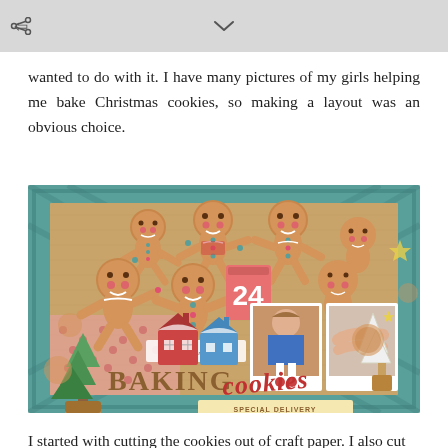share | chevron-down
wanted to do with it. I have many pictures of my girls helping me bake Christmas cookies, so making a layout was an obvious choice.
[Figure (photo): A scrapbook layout page titled 'Baking Cookies' featuring gingerbread man cutouts, photos of children baking, decorative elements including a Christmas tree, houses, and the words 'BAKING COOKIES' in large letters. The layout has a plaid border and a kraft/tan woodgrain background.]
I started with cutting the cookies out of craft paper. I also cut